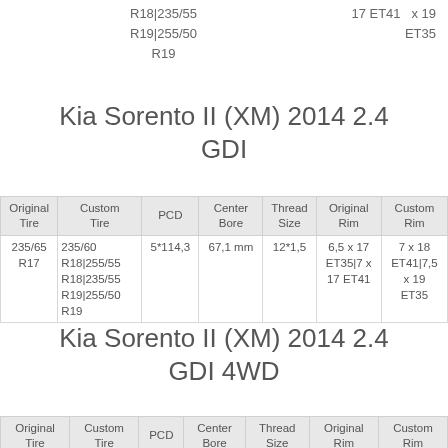R18|235/55
R19|255/50
R19
17 ET41   x 19
ET35
Kia Sorento II (XM) 2014 2.4 GDI
| Original Tire | Custom Tire | PCD | Center Bore | Thread Size | Original Rim | Custom Rim |
| --- | --- | --- | --- | --- | --- | --- |
| 235/65 R17 | 235/60 R18|255/55 R18|235/55 R19|255/50 R19 | 5*114,3 | 67,1 mm | 12*1,5 | 6,5 x 17 ET35|7 x 17 ET41 | 7 x 18 ET41|7,5 x 19 ET35 |
Kia Sorento II (XM) 2014 2.4 GDI 4WD
| Original Tire | Custom Tire | PCD | Center Bore | Thread Size | Original Rim | Custom Rim |
| --- | --- | --- | --- | --- | --- | --- |